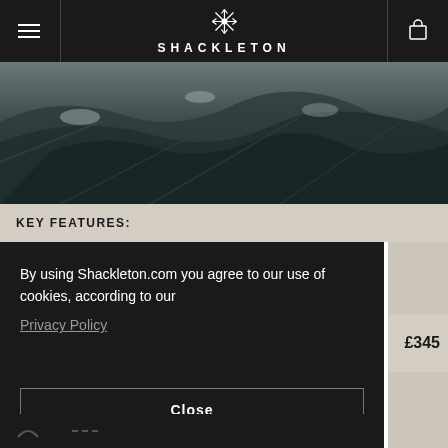[Figure (logo): Shackleton brand logo with snowflake icon and wordmark SHACKLETON in white on dark header bar]
[Figure (photo): Rocky mountainous landscape with snow, dark moody tones, used as hero banner image]
KEY FEATURES:
By using Shackleton.com you agree to our use of cookies, according to our
Privacy Policy
£345
Close